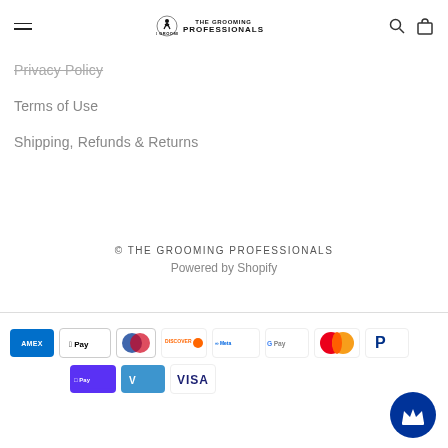THE GROOMING PROFESSIONALS
Privacy Policy
Terms of Use
Shipping, Refunds & Returns
© THE GROOMING PROFESSIONALS
Powered by Shopify
[Figure (logo): Payment method icons: American Express, Apple Pay, Diners Club, Discover, Meta Pay, Google Pay, Mastercard, PayPal, Shop Pay, Venmo, Visa]